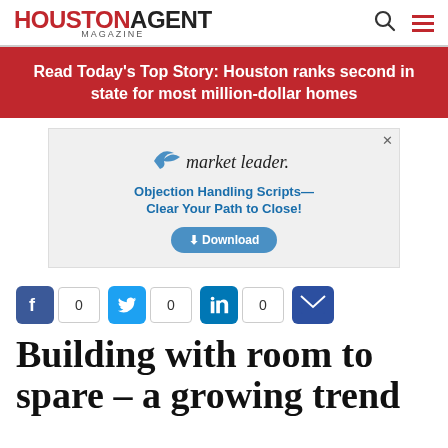HOUSTON AGENT Magazine
Read Today's Top Story: Houston ranks second in state for most million-dollar homes
[Figure (other): Market Leader advertisement: Objection Handling Scripts—Clear Your Path to Close! with Download button]
0  0  0 (Facebook, Twitter, LinkedIn share counts and email icon)
Building with room to spare – a growing trend